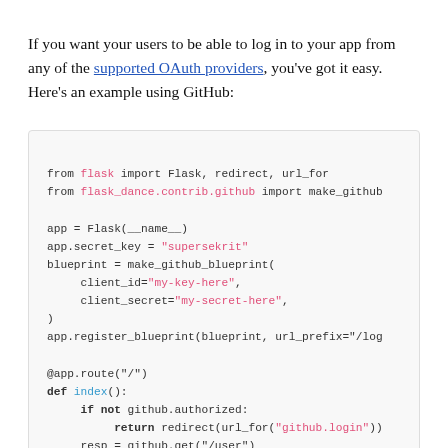If you want your users to be able to log in to your app from any of the supported OAuth providers, you've got it easy. Here's an example using GitHub:
[Figure (screenshot): Code block showing Python Flask-Dance GitHub OAuth example with syntax highlighting. Shows imports, app setup with secret key, blueprint creation with client_id and client_secret, blueprint registration, and a route with authorization check.]